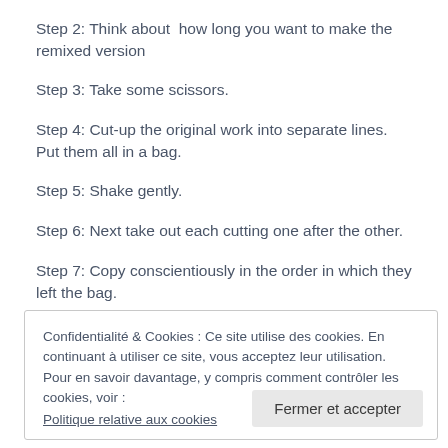Step 2: Think about  how long you want to make the remixed version
Step 3: Take some scissors.
Step 4: Cut-up the original work into separate lines. Put them all in a bag.
Step 5: Shake gently.
Step 6: Next take out each cutting one after the other.
Step 7: Copy conscientiously in the order in which they left the bag.
Step 8: Share the final version.  Embellishment and rule breaking is
Confidentialité & Cookies : Ce site utilise des cookies. En continuant à utiliser ce site, vous acceptez leur utilisation.
Pour en savoir davantage, y compris comment contrôler les cookies, voir :
Politique relative aux cookies
Fermer et accepter